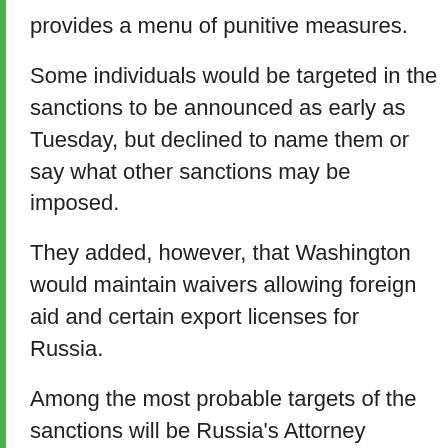provides a menu of punitive measures.
Some individuals would be targeted in the sanctions to be announced as early as Tuesday, but declined to name them or say what other sanctions may be imposed.
They added, however, that Washington would maintain waivers allowing foreign aid and certain export licenses for Russia.
Among the most probable targets of the sanctions will be Russia's Attorney General and the Commander-in-Chief of National Guard.
A third source said the U.S. action may be coordinated with sanctions the European Union could apply as soon as Tuesday.
EU foreign ministers agreed on Feb. 22 to impose sanctions on four senior Russian officials close to